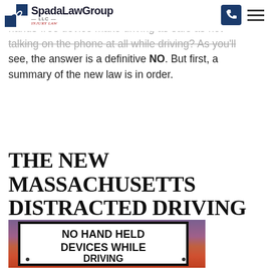Spada Law Group LLC – Injury Law
killed on Massachusetts roads. But, does using a hands-free device make driving as safe as not talking on the phone at all while driving? As you'll see, the answer is a definitive NO. But first, a summary of the new law is in order.
THE NEW MASSACHUSETTS DISTRACTED DRIVING LAW
[Figure (photo): A road sign reading 'NO HAND HELD DEVICES WHILE DRIVING' against a sunset sky background]